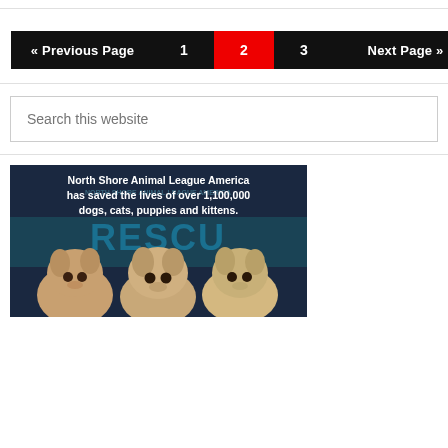« Previous Page
1
2
3
Next Page »
Search this website
[Figure (photo): North Shore Animal League America rescue advertisement showing three puppies with text: North Shore Animal League America has saved the lives of over 1,100,000 dogs, cats, puppies and kittens. RESCUE logo visible in background.]